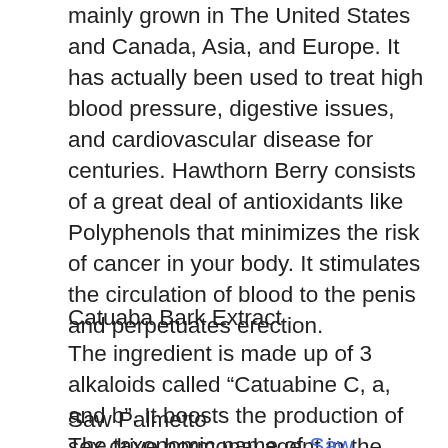mainly grown in The United States and Canada, Asia, and Europe. It has actually been used to treat high blood pressure, digestive issues, and cardiovascular disease for centuries. Hawthorn Berry consists of a great deal of antioxidants like Polyphenols that minimizes the risk of cancer in your body. It stimulates the circulation of blood to the penis and perpetuates erection.
Catuaba Bark Extract
The ingredient is made up of 3 alkaloids called “Catuabine C, a, and b”. It boosts the production of sex drive hormonal agent in the body, hence enhancing sexual efficiency.
Saw Palmetto
The taxonomic name of Saw Palmetto is